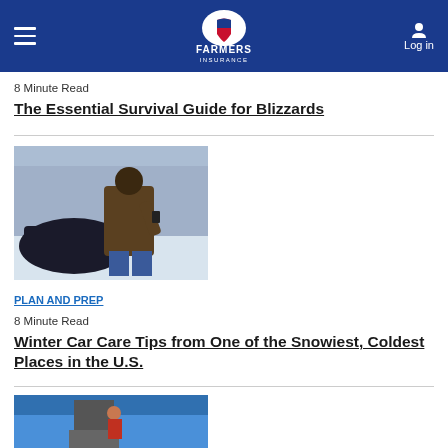Farmers Insurance
8 Minute Read
The Essential Survival Guide for Blizzards
[Figure (photo): Person in winter jacket looking at phone while leaning over car engine in snowy conditions]
PLAN AND PREP
8 Minute Read
Winter Car Care Tips from One of the Snowiest, Coldest Places in the U.S.
[Figure (photo): Person on rooftop against blue sky, partial view]